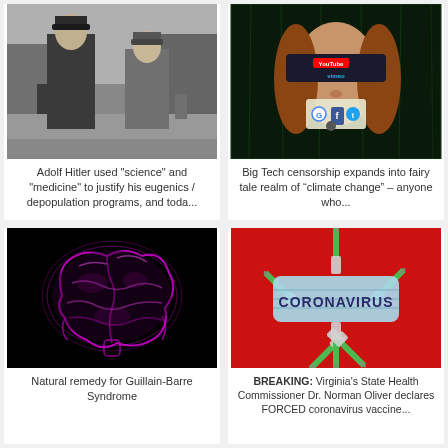[Figure (photo): Black and white photo of two men in military uniforms, likely Nazi-era figures, standing outdoors with trees in background]
Adolf Hitler used "science" and "medicine" to justify his eugenics / depopulation programs, and toda...
[Figure (photo): Photo of a woman blindfolded with a band showing YouTube and Vimeo logos, with social media logos (Google, Facebook, Twitter, Apple) covering her mouth]
Big Tech censorship expands into fairy tale realm of “climate change” – anyone who...
[Figure (photo): Glowing purple neon brain illustration on black background]
Natural remedy for Guillain-Barre Syndrome
[Figure (photo): Photo of a surgical mask with CORONAVIRUS written on it, surrounded by syringes with green needles on a red background]
BREAKING: Virginia's State Health Commissioner Dr. Norman Oliver declares FORCED coronavirus vaccine...